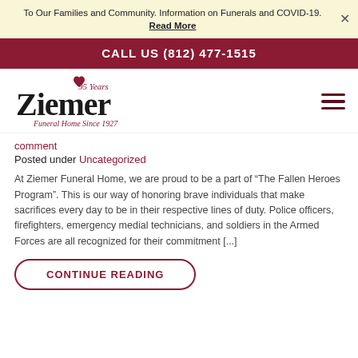To Our Families and Community. Information on Funerals and COVID-19. Read More
CALL US (812) 477-1515
[Figure (logo): Ziemer Funeral Home Since 1927 logo with 95 Years emblem]
comment
Posted under Uncategorized
At Ziemer Funeral Home, we are proud to be a part of “The Fallen Heroes Program”. This is our way of honoring brave individuals that make sacrifices every day to be in their respective lines of duty. Police officers, firefighters, emergency medial technicians, and soldiers in the Armed Forces are all recognized for their commitment [...]
CONTINUE READING